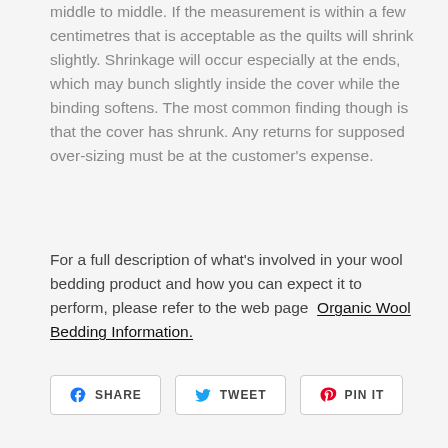middle to middle. If the measurement is within a few centimetres that is acceptable as the quilts will shrink slightly. Shrinkage will occur especially at the ends, which may bunch slightly inside the cover while the binding softens. The most common finding though is that the cover has shrunk. Any returns for supposed over-sizing must be at the customer's expense.
For a full description of what's involved in your wool bedding product and how you can expect it to perform, please refer to the web page  Organic Wool Bedding Information.
[Figure (infographic): Three social sharing buttons: Facebook SHARE, Twitter TWEET, Pinterest PIN IT]